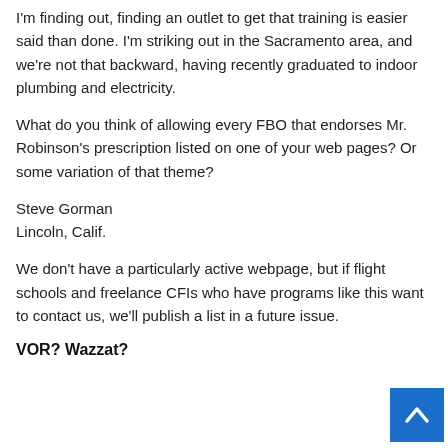I'm finding out, finding an outlet to get that training is easier said than done. I'm striking out in the Sacramento area, and we're not that backward, having recently graduated to indoor plumbing and electricity.
What do you think of allowing every FBO that endorses Mr. Robinson's prescription listed on one of your web pages? Or some variation of that theme?
Steve Gorman
Lincoln, Calif.
We don't have a particularly active webpage, but if flight schools and freelance CFIs who have programs like this want to contact us, we'll publish a list in a future issue.
VOR? Wazzat?